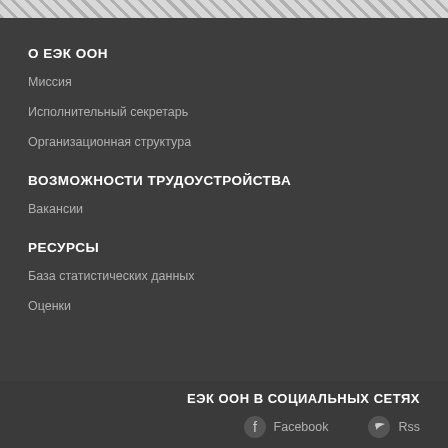О ЕЭК ООН
Миссия
Исполнительный секретарь
Организационная структура
ВОЗМОЖНОСТИ ТРУДОУСТРОЙСТВА
Вакансии
РЕСУРСЫ
База статистических данных
Оценки
ЕЭК ООН В СОЦИАЛЬНЫХ СЕТЯХ
Facebook
Rss